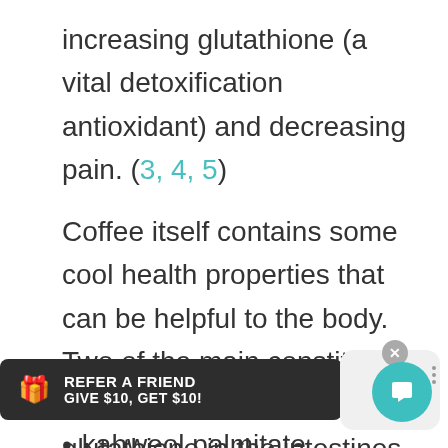increasing glutathione (a vital detoxification antioxidant) and decreasing pain. (3, 4, 5)
Coffee itself contains some cool health properties that can be helpful to the body. Two of the main constituents can increase the level of glutathione in the intestines and the liver:
kahweol palmitate
kahweol palmitate
[Figure (other): Refer a Friend promotional banner: dark background with gift icon, text 'REFER A FRIEND GIVE $10, GET $10!']
[Figure (other): Chat widget button: teal circle with chat icon on a light card, with X close button and dots menu]